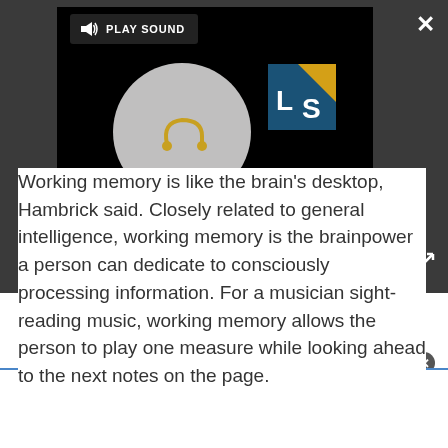[Figure (screenshot): Dark gray UI overlay with a black video player box containing a gray circle with an orange hook/headphone icon and an LS (LearningStation) logo. A 'PLAY SOUND' button with speaker icon is in the upper-left of the player. A close X button is top-right and an expand arrow icon is mid-right of the dark bar.]
Working memory is like the brain's desktop, Hambrick said. Closely related to general intelligence, working memory is the brainpower a person can dedicate to consciously processing information. For a musician sight-reading music, working memory allows the person to play one measure while looking ahead to the next notes on the page.